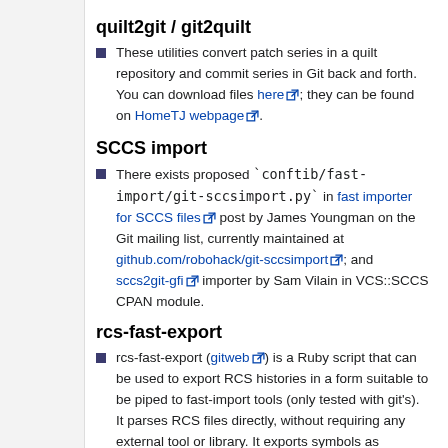quilt2git / git2quilt
These utilities convert patch series in a quilt repository and commit series in Git back and forth. You can download files here; they can be found on HomeTJ webpage.
SCCS import
There exists proposed `conftib/fast-import/git-sccsimport.py` in fast importer for SCCS files post by James Youngman on the Git mailing list, currently maintained at github.com/robohack/git-sccsimport; and sccs2git-gfi importer by Sam Vilain in VCS::SCCS CPAN module.
rcs-fast-export
rcs-fast-export (gitweb) is a Ruby script that can be used to export RCS histories in a form suitable to be piped to fast-import tools (only tested with git's). It parses RCS files directly, without requiring any external tool or library. It exports symbols as lightweight tags, and makes up a decently